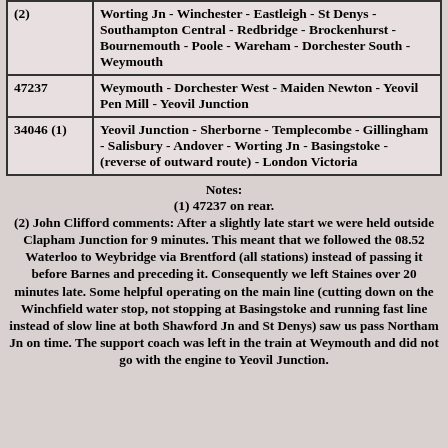| Loco | Route |
| --- | --- |
| (2) | Worting Jn - Winchester - Eastleigh - St Denys - Southampton Central - Redbridge - Brockenhurst - Bournemouth - Poole - Wareham - Dorchester South - Weymouth |
| 47237 | Weymouth - Dorchester West - Maiden Newton - Yeovil Pen Mill - Yeovil Junction |
| 34046 (1) | Yeovil Junction - Sherborne - Templecombe - Gillingham - Salisbury - Andover - Worting Jn - Basingstoke - (reverse of outward route) - London Victoria |
Notes:
(1) 47237 on rear.
(2) John Clifford comments: After a slightly late start we were held outside Clapham Junction for 9 minutes. This meant that we followed the 08.52 Waterloo to Weybridge via Brentford (all stations) instead of passing it before Barnes and preceding it. Consequently we left Staines over 20 minutes late. Some helpful operating on the main line (cutting down on the Winchfield water stop, not stopping at Basingstoke and running fast line instead of slow line at both Shawford Jn and St Denys) saw us pass Northam Jn on time. The support coach was left in the train at Weymouth and did not go with the engine to Yeovil Junction.